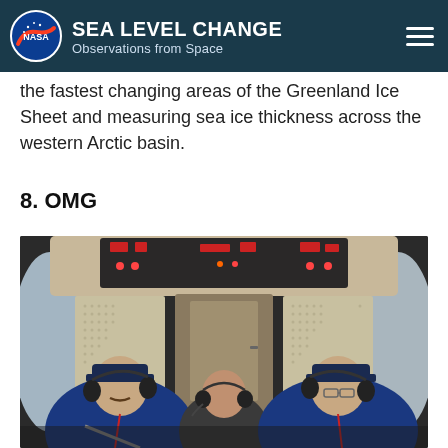SEA LEVEL CHANGE Observations from Space
the fastest changing areas of the Greenland Ice Sheet and measuring sea ice thickness across the western Arctic basin.
8. OMG
[Figure (photo): Three crew members inside an aircraft cockpit viewed from behind/side; two on left and right wearing blue flight suits and headsets, one in center wearing dark clothing with headset; cockpit interior visible with overhead panels and equipment.]